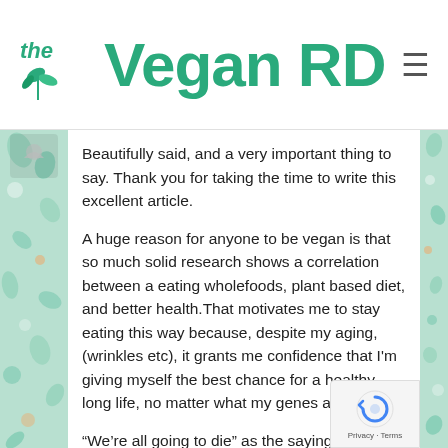the Vegan RD
Beautifully said, and a very important thing to say. Thank you for taking the time to write this excellent article.

A huge reason for anyone to be vegan is that so much solid research shows a correlation between a eating wholefoods, plant based diet, and better health.That motivates me to stay eating this way because, despite my aging, (wrinkles etc), it grants me confidence that I'm giving myself the best chance for a healthy long life, no matter what my genes are doing

“We’re all going to die” as the saying go People avoid this truth, and before the